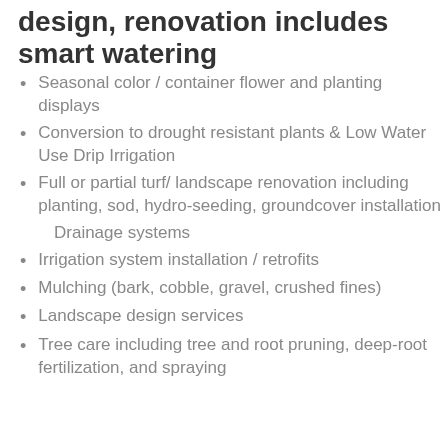design, renovation includes smart watering
Seasonal color / container flower and planting displays
Conversion to drought resistant plants & Low Water Use Drip Irrigation
Full or partial turf/ landscape renovation including planting, sod, hydro-seeding, groundcover installation
Drainage systems
Irrigation system installation / retrofits
Mulching (bark, cobble, gravel, crushed fines)
Landscape design services
Tree care including tree and root pruning, deep-root fertilization, and spraying